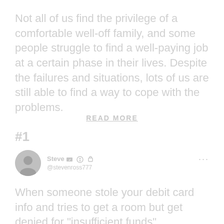Not all of us find the privilege of a comfortable well-off family, and some people struggle to find a well-paying job at a certain phase in their lives. Despite the failures and situations, lots of us are still able to find a way to cope with the problems.
READ MORE
#1
[Figure (illustration): Twitter/social media user avatar - circular profile photo of a person]
Steve [verified badge icon] [Twitter icon] [lock icon] @stevenross777 ...
When someone stole your debit card info and tries to get a room but get denied for "insufficient funds"